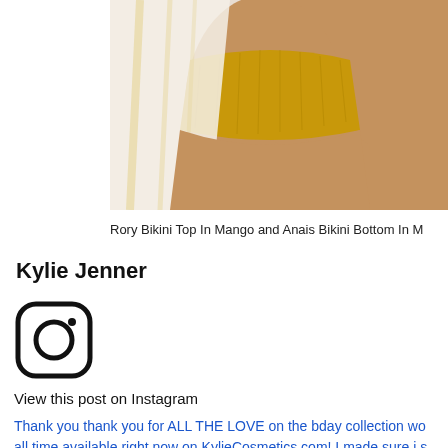[Figure (photo): Photo of a person wearing a yellow textured bikini bottom with a white and yellow striped wrap/coverup, cropped to show torso and legs on a light beige background]
Rory Bikini Top In Mango and Anais Bikini Bottom In M
Kylie Jenner
[Figure (logo): Instagram logo icon — rounded square with camera outline and dot]
View this post on Instagram
Thank you thank you for ALL THE LOVE on the bday collection wo all time available right now on KylieCosmetics.com! I made sure i s